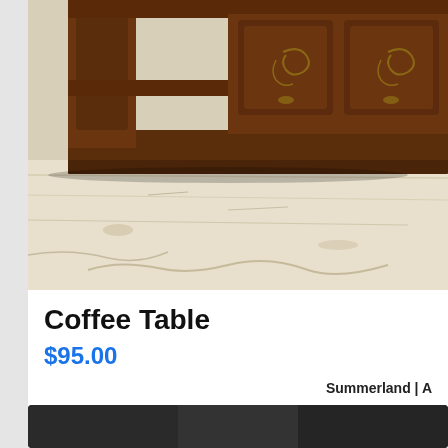[Figure (photo): Photograph of a dark brown ornately carved wooden coffee table with decorative panels and scrollwork details, sitting on a worn white/cream rug on a light floor.]
Coffee Table
$95.00
Summerland | A
[Figure (photo): Partially visible photograph at bottom of page, appears to show dark furniture or upholstery.]